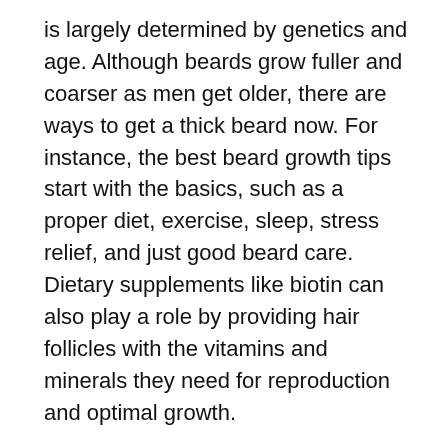is largely determined by genetics and age. Although beards grow fuller and coarser as men get older, there are ways to get a thick beard now. For instance, the best beard growth tips start with the basics, such as a proper diet, exercise, sleep, stress relief, and just good beard care. Dietary supplements like biotin can also play a role by providing hair follicles with the vitamins and minerals they need for reproduction and optimal growth.
If you want to get a fuller beard, then follow our guide to learn how to make your beard grow thicker and faster naturally. Although there is no way to grow your facial hair out overnight, with